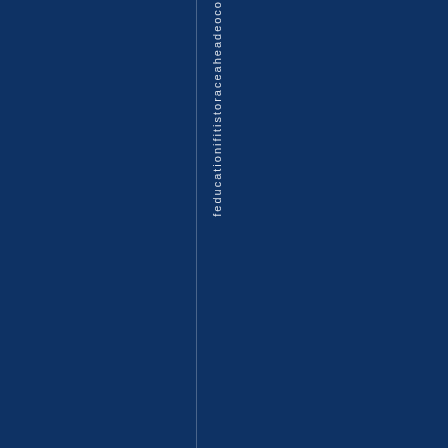[Figure (other): Dark navy blue background page with a vertical line and rotated text reading 'feducationifitistoraceaheadeoco' — appears to be a spine or cover design element with vertical typography on a dark blue background.]